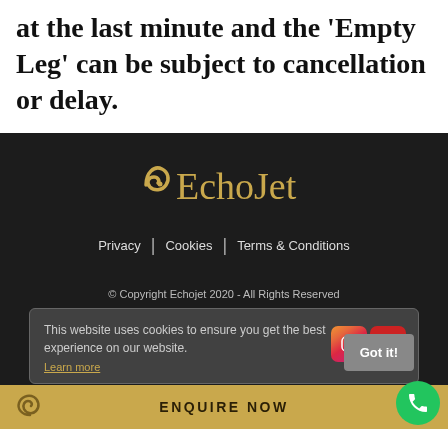at the last minute and the 'Empty Leg' can be subject to cancellation or delay.
[Figure (logo): EchoJet logo with golden swirl icon and golden text 'EchoJet' on dark background]
Privacy | Cookies | Terms & Conditions
© Copyright Echojet 2020 - All Rights Reserved
This website uses cookies to ensure you get the best experience on our website.
Learn more
Got it!
ENQUIRE NOW